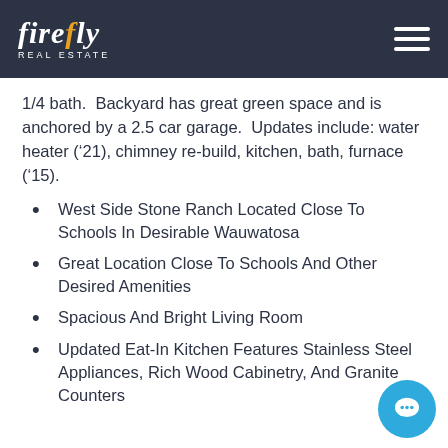firefly REAL ESTATE
1/4 bath.  Backyard has great green space and is anchored by a 2.5 car garage.  Updates include: water heater (’21), chimney re-build, kitchen, bath, furnace (’15).
West Side Stone Ranch Located Close To Schools In Desirable Wauwatosa
Great Location Close To Schools And Other Desired Amenities
Spacious And Bright Living Room
Updated Eat-In Kitchen Features Stainless Steel Appliances, Rich Wood Cabinetry, And Granite Counters